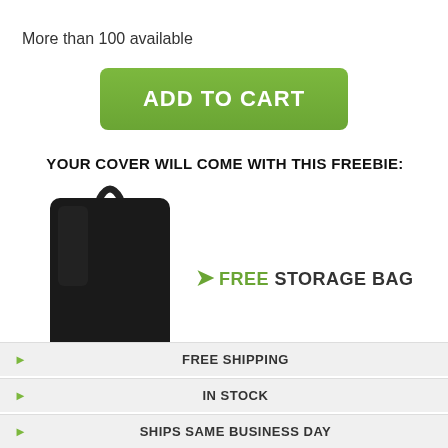More than 100 available
ADD TO CART
YOUR COVER WILL COME WITH THIS FREEBIE:
[Figure (photo): Black storage bag with handle loop at top]
▶ FREE STORAGE BAG
▶ FREE SHIPPING
▶ IN STOCK
▶ SHIPS SAME BUSINESS DAY